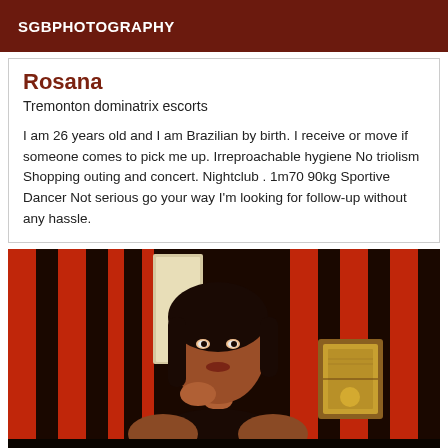SGBPHOTOGRAPHY
Rosana
Tremonton dominatrix escorts
I am 26 years old and I am Brazilian by birth. I receive or move if someone comes to pick me up. Irreproachable hygiene No triolism Shopping outing and concert. Nightclub . 1m70 90kg Sportive Dancer Not serious go your way I'm looking for follow-up without any hassle.
[Figure (photo): Woman sitting in a room with red and black vertical striped walls, posing with hand near chin. A framed picture is visible in the background.]